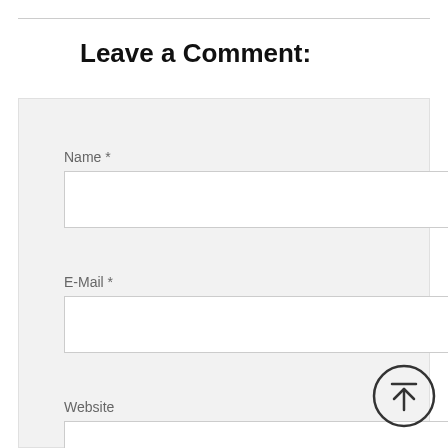Leave a Comment:
Name *
E-Mail *
Website
Save my name, email, and website
[Figure (illustration): Scroll-to-top button: a circle with an upward arrow and a horizontal line above it]